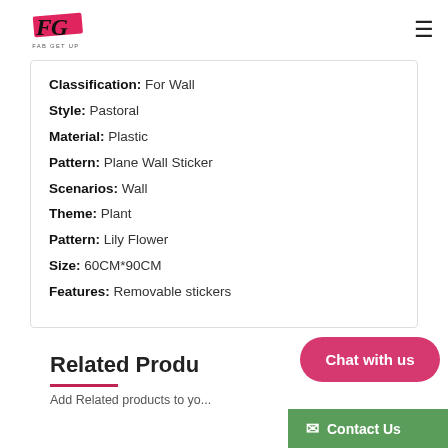FG FAB GET UP
Classification: For Wall
Style: Pastoral
Material: Plastic
Pattern: Plane Wall Sticker
Scenarios: Wall
Theme: Plant
Pattern: Lily Flower
Size: 60CM*90CM
Features: Removable stickers
Related Products
Add Related products to your...